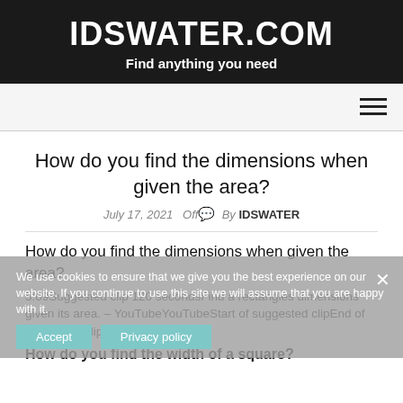IDSWATER.COM
Find anything you need
How do you find the dimensions when given the area?
July 17, 2021   Off   By IDSWATER
How do you find the dimensions when given the area?
5:09Suggested clip 120 secondsFind a rectangles dimensions given its area. – YouTubeYouTubeStart of suggested clipEnd of suggested clip
How do you find the width of a square?
We use cookies to ensure that we give you the best experience on our website. If you continue to use this site we will assume that you are happy with it.